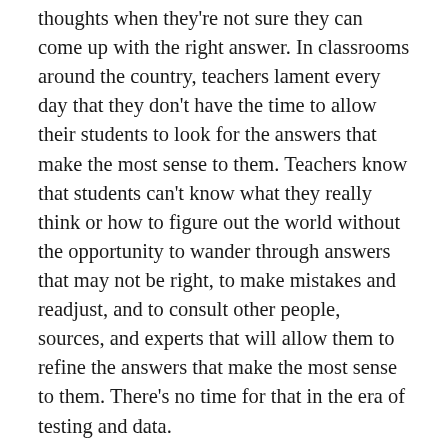thoughts when they're not sure they can come up with the right answer. In classrooms around the country, teachers lament every day that they don't have the time to allow their students to look for the answers that make the most sense to them. Teachers know that students can't know what they really think or how to figure out the world without the opportunity to wander through answers that may not be right, to make mistakes and readjust, and to consult other people, sources, and experts that will allow them to refine the answers that make the most sense to them. There's no time for that in the era of testing and data.
The danger is that the world outside of the school buildings where students spend their whole day is full of problems for which there is no multiple choice answer. The stakes out there are as high as life or death. Where can teens exercise their incredible power of finding answers to help them to decipher a world in